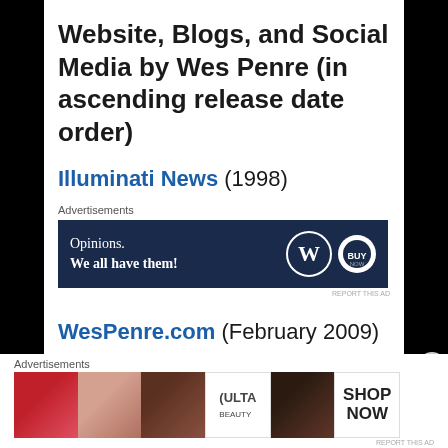Website, Blogs, and Social Media by Wes Penre (in ascending release date order)
Illuminati News (1998)
[Figure (screenshot): Advertisement banner: dark navy background with text 'Opinions. We all have them!' in white, with WordPress logo circle and another circular logo on the right.]
WesPenre.com (February 2009)
[Figure (screenshot): Advertisement banner at bottom: cosmetics/beauty themed strip showing lips, makeup brush, eye, ULTA Beauty logo, eye, and SHOP NOW text.]